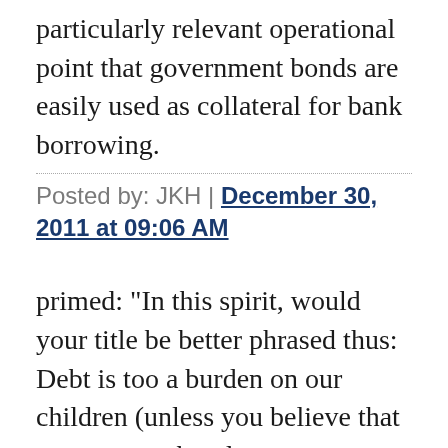particularly relevant operational point that government bonds are easily used as collateral for bank borrowing.
Posted by: JKH | December 30, 2011 at 09:06 AM
primed: "In this spirit, would your title be better phrased thus: Debt is too a burden on our children (unless you believe that government bonds are transferred across generations via bequests)?"
1. Because "Ricardian Equivalence" is shorter.
2. Because I'm being sloppy